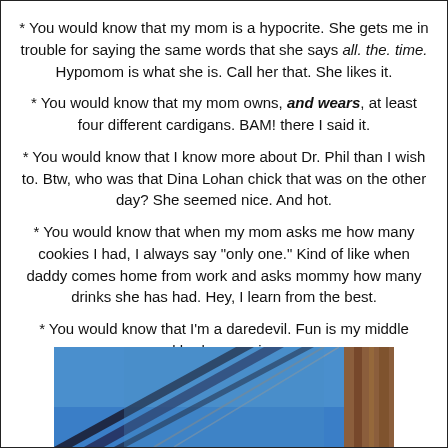* You would know that my mom is a hypocrite. She gets me in trouble for saying the same words that she says all. the. time. Hypomom is what she is. Call her that. She likes it.
* You would know that my mom owns, and wears, at least four different cardigans. BAM! there I said it.
* You would know that I know more about Dr. Phil than I wish to. Btw, who was that Dina Lohan chick that was on the other day? She seemed nice. And hot.
* You would know that when my mom asks me how many cookies I had, I always say "only one." Kind of like when daddy comes home from work and asks mommy how many drinks she has had. Hey, I learn from the best.
* You would know that I'm a daredevil. Fun is my middle name and badass-ery is my game.
[Figure (photo): Looking up at architectural structure or bridge with blue sky, diagonal lines and wooden/metal beams visible.]